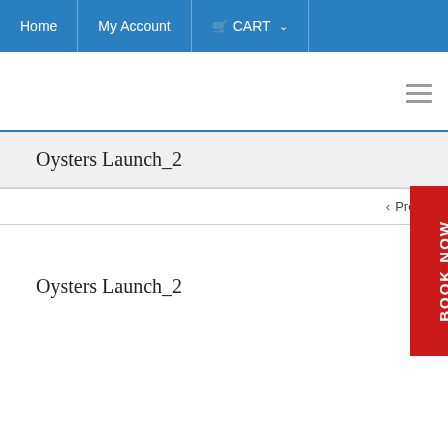Home | My Account | CART
Oysters Launch_2
< Previo...
Oysters Launch_2
[Figure (other): Book Now vertical red button on right side]